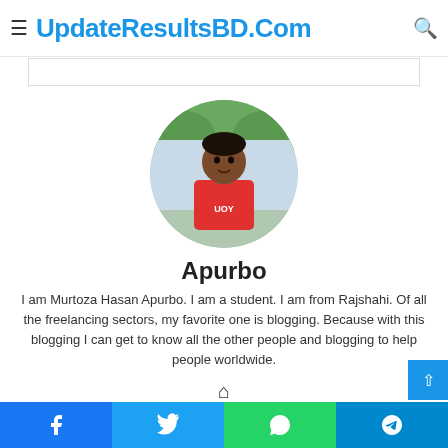UpdateResultsBD.Com
[Figure (photo): Circular profile photo of Apurbo, a young man wearing a red t-shirt, outdoors background]
Apurbo
I am Murtoza Hasan Apurbo. I am a student. I am from Rajshahi. Of all the freelancing sectors, my favorite one is blogging. Because with this blogging I can get to know all the other people and blogging to help people worldwide.
Facebook | Twitter | WhatsApp | Telegram